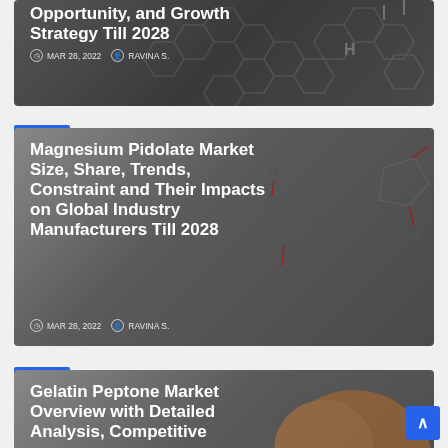[Figure (screenshot): Article card with dark hexagonal chemical structure background showing title 'Opportunity, and Growth Strategy Till 2028', dated MAR 28, 2022, author RAVINA S.]
Opportunity, and Growth Strategy Till 2028
MAR 28, 2022  RAVINA S.
SCI-TECH
[Figure (screenshot): Article card with dark magnesium pidolate chemical structure background showing full article title and metadata]
Magnesium Pidolate Market Size, Share, Trends, Constraint and Their Impacts on Global Industry Manufacturers Till 2028
MAR 28, 2022  RAVINA S.
SCI-TECH
[Figure (screenshot): Partial article card with food/gelatin background showing beginning of article title]
Gelatin Peptone Market Overview with Detailed Analysis, Competitive